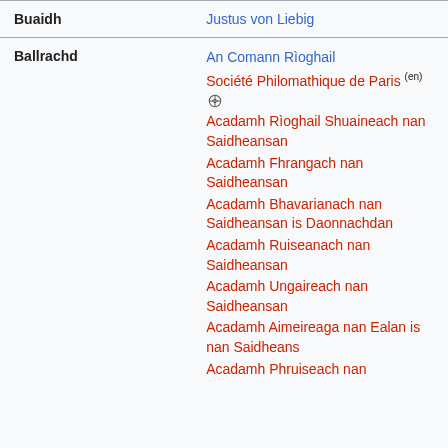| Field | Value |
| --- | --- |
| Buaidh | Justus von Liebig |
| Ballrachd | An Comann Rìoghail
Société Philomathique de Paris (en)
Acadamh Rìoghail Shuaineach nan Saidheansan
Acadamh Fhrangach nan Saidheansan
Acadamh Bhavarianach nan Saidheansan is Daonnachdan
Acadamh Ruiseanach nan Saidheansan
Acadamh Ungaireach nan Saidheansan
Acadamh Aimeireaga nan Ealan is nan Saidheans
Acadamh Phruiseach nan... |